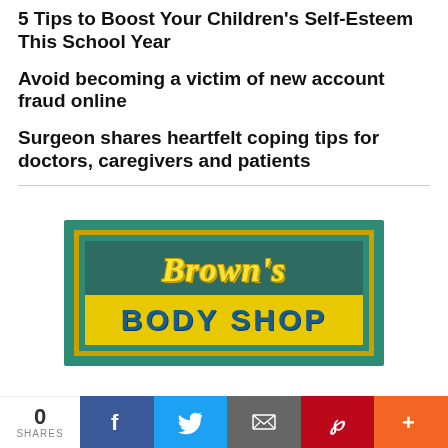5 Tips to Boost Your Children's Self-Esteem This School Year
Avoid becoming a victim of new account fraud online
Surgeon shares heartfelt coping tips for doctors, caregivers and patients
[Figure (logo): Brown's Body Shop advertisement logo — teal/green background with yellow script 'Brown's' text and blue bold 'BODY SHOP' text on yellow band, bordered in gold]
0 SHARES
[Figure (infographic): Social share bar with Facebook, Twitter, Email, Pinterest, and More buttons]